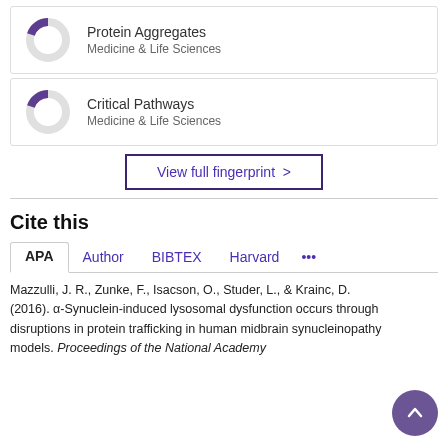[Figure (donut-chart): Donut chart for Protein Aggregates, Medicine & Life Sciences, approximately 20% filled in purple]
Protein Aggregates
Medicine & Life Sciences
[Figure (donut-chart): Donut chart for Critical Pathways, Medicine & Life Sciences, approximately 20% filled in purple]
Critical Pathways
Medicine & Life Sciences
View full fingerprint >
Cite this
APA  Author  BIBTEX  Harvard  ...
Mazzulli, J. R., Zunke, F., Isacson, O., Studer, L., & Krainc, D. (2016). α-Synuclein-induced lysosomal dysfunction occurs through disruptions in protein trafficking in human midbrain synucleinopathy models. Proceedings of the National Academy